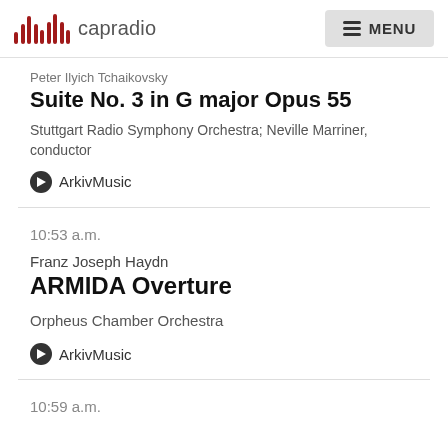capradio  MENU
Peter Ilyich Tchaikovsky
Suite No. 3 in G major Opus 55
Stuttgart Radio Symphony Orchestra; Neville Marriner, conductor
ArkivMusic
10:53 a.m.
Franz Joseph Haydn
ARMIDA Overture
Orpheus Chamber Orchestra
ArkivMusic
10:59 a.m.